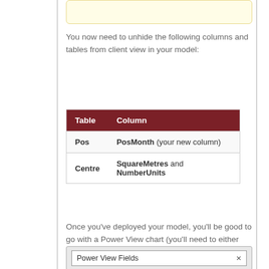[Figure (screenshot): Partial yellow highlighted box at the top of the page]
You now need to unhide the following columns and tables from client view in your model:
| Table | Column |
| --- | --- |
| Pos | PosMonth (your new column) |
| Centre | SquareMetres and NumberUnits |
Once you've deployed your model, you'll be good to go with a Power View chart (you'll need to either create a new workbook, or close and re-open the one you're using).  The first thing to do is to create a table:
[Figure (screenshot): Power View Fields dropdown panel at the bottom of the page]